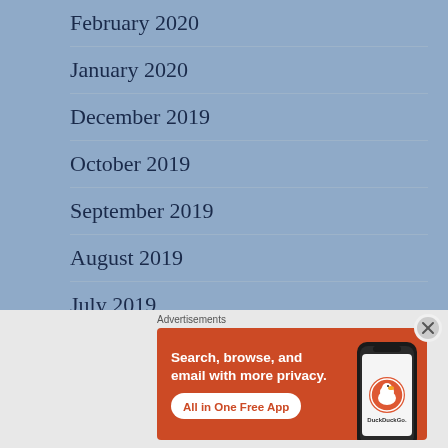February 2020
January 2020
December 2019
October 2019
September 2019
August 2019
July 2019
[Figure (infographic): DuckDuckGo advertisement banner. Orange background with text: 'Search, browse, and email with more privacy. All in One Free App' alongside an image of a smartphone with the DuckDuckGo app and logo.]